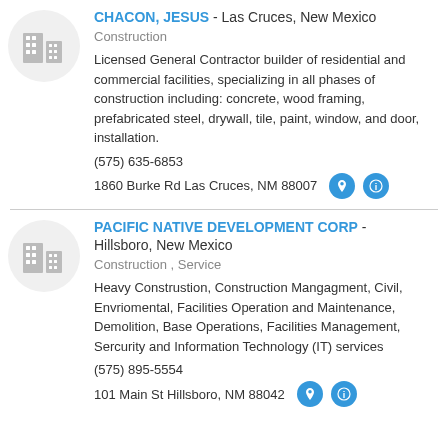[Figure (illustration): Building/office icon in a circle]
CHACON, JESUS - Las Cruces, New Mexico
Construction
Licensed General Contractor builder of residential and commercial facilities, specializing in all phases of construction including: concrete, wood framing, prefabricated steel, drywall, tile, paint, window, and door, installation.
(575) 635-6853
1860 Burke Rd Las Cruces, NM 88007
[Figure (illustration): Building/office icon in a circle]
PACIFIC NATIVE DEVELOPMENT CORP - Hillsboro, New Mexico
Construction , Service
Heavy Construstion, Construction Mangagment, Civil, Envriomental, Facilities Operation and Maintenance, Demolition, Base Operations, Facilities Management, Sercurity and Information Technology (IT) services
(575) 895-5554
101 Main St Hillsboro, NM 88042